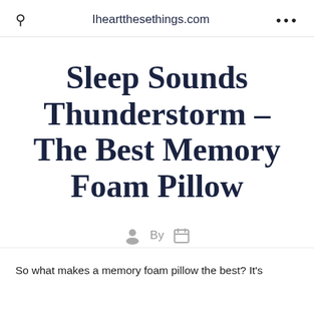Iheartthesethings.com
Sleep Sounds Thunderstorm – The Best Memory Foam Pillow
By
So what makes a memory foam pillow the best? It's